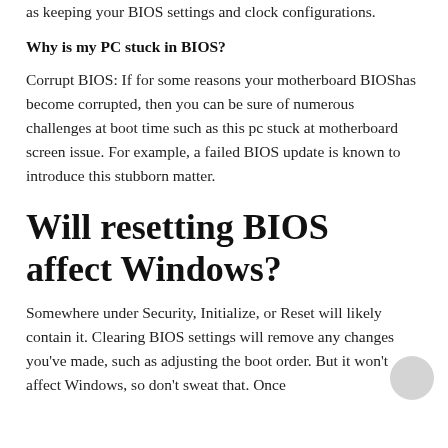as keeping your BIOS settings and clock configurations.
Why is my PC stuck in BIOS?
Corrupt BIOS: If for some reasons your motherboard BIOShas become corrupted, then you can be sure of numerous challenges at boot time such as this pc stuck at motherboard screen issue. For example, a failed BIOS update is known to introduce this stubborn matter.
Will resetting BIOS affect Windows?
Somewhere under Security, Initialize, or Reset will likely contain it. Clearing BIOS settings will remove any changes you've made, such as adjusting the boot order. But it won't affect Windows, so don't sweat that. Once